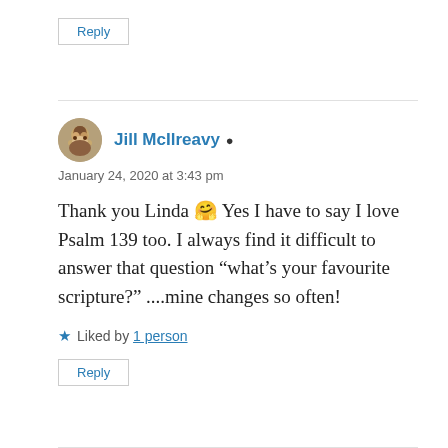Reply
Jill McIlreavy
January 24, 2020 at 3:43 pm
Thank you Linda 🤗 Yes I have to say I love Psalm 139 too. I always find it difficult to answer that question “what’s your favourite scripture?” ....mine changes so often!
★ Liked by 1 person
Reply